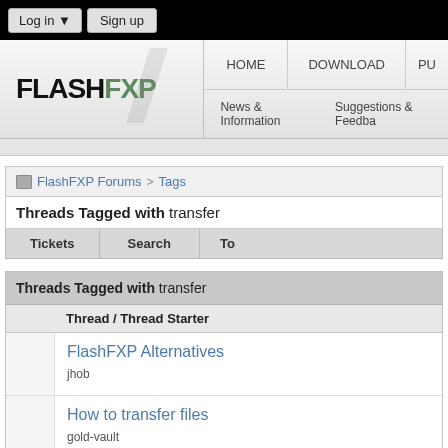Log in ▼  Sign up
[Figure (logo): FlashFXP logo with navigation bar showing HOME, DOWNLOAD, PU... and News & Information, Suggestions & Feedba...]
FlashFXP Forums > Tags
Threads Tagged with transfer
| Tickets | Search | To... |
| --- | --- | --- |
| Thread / Thread Starter |
| --- |
| FlashFXP Alternatives
jhob |
| How to transfer files
gold-vault |
| Transfer files with international char... |